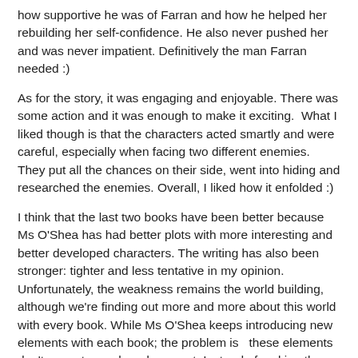how supportive he was of Farran and how he helped her rebuilding her self-confidence. He also never pushed her and was never impatient. Definitively the man Farran needed :)
As for the story, it was engaging and enjoyable. There was some action and it was enough to make it exciting.  What I liked though is that the characters acted smartly and were careful, especially when facing two different enemies. They put all the chances on their side, went into hiding and researched the enemies. Overall, I liked how it enfolded :)
I think that the last two books have been better because Ms O'Shea has had better plots with more interesting and better developed characters. The writing has also been stronger: tighter and less tentative in my opinion. Unfortunately, the weakness remains the world building, although we're finding out more and more about this world with every book. While Ms O'Shea keeps introducing new elements with each book; the problem is   these elements don't seem to mesh and connect. Instead of making the world building more understandable to the readers, it just add more question marks. I'm sure Ms O'Shea is going somewhere with it all,